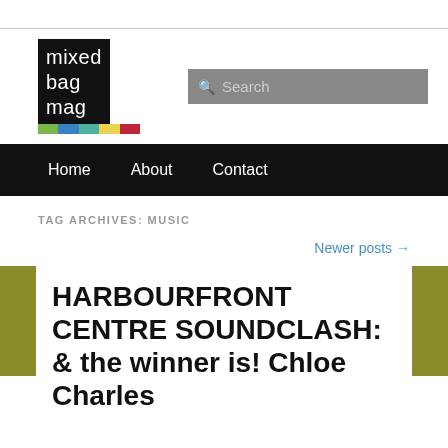[Figure (logo): Mixed Bag Mag logo: black square with white text 'mixed bag mag' and colored bars at bottom (green, blue, teal, yellow, red)]
Search
Home   About   Contact
TAG ARCHIVES: MUSIC
Newer posts →
HARBOURFRONT CENTRE SOUNDCLASH: & the winner is! Chloe Charles